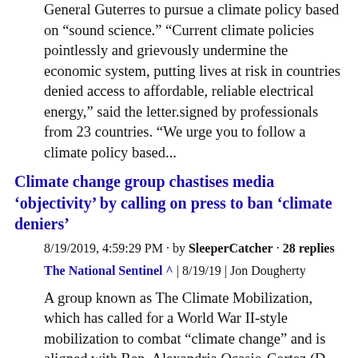General Guterres to pursue a climate policy based on “sound science.” “Current climate policies pointlessly and grievously undermine the economic system, putting lives at risk in countries denied access to affordable, reliable electrical energy,” said the letter.signed by professionals from 23 countries. “We urge you to follow a climate policy based...
Climate change group chastises media ‘objectivity’ by calling on press to ban ‘climate deniers’
8/19/2019, 4:59:29 PM · by SleeperCatcher · 28 replies
The National Sentinel ^ | 8/19/19 | Jon Dougherty
A group known as The Climate Mobilization, which has called for a World War II-style mobilization to combat “climate change” and is aligned with Rep. Alexandria Ocasio-Cortez (D-NY) and Sen. Bernie Sanders, is criticizing American media outlets for allowing “climate deniers” to express